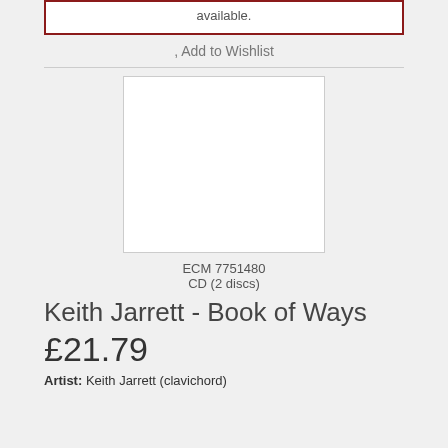available.
, Add to Wishlist
[Figure (illustration): Blank white album cover image placeholder with thin grey border]
ECM 7751480
CD (2 discs)
Keith Jarrett - Book of Ways
£21.79
Artist: Keith Jarrett (clavichord)